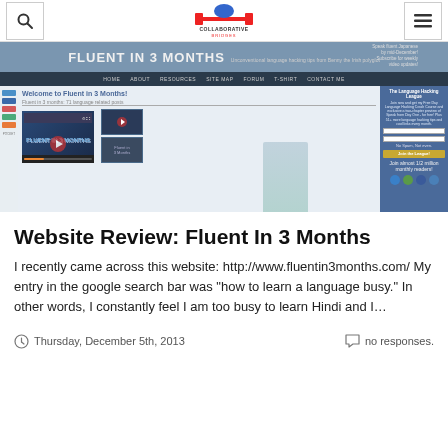Collaborative Bridges - search and menu header
[Figure (screenshot): Screenshot of the Fluent in 3 Months website showing the banner, navigation bar, welcome section with video player, and sidebar with language hacking league signup.]
Website Review: Fluent In 3 Months
I recently came across this website: http://www.fluentin3months.com/ My entry in the google search bar was "how to learn a language busy." In other words, I constantly feel I am too busy to learn Hindi and I…
Thursday, December 5th, 2013    no responses.